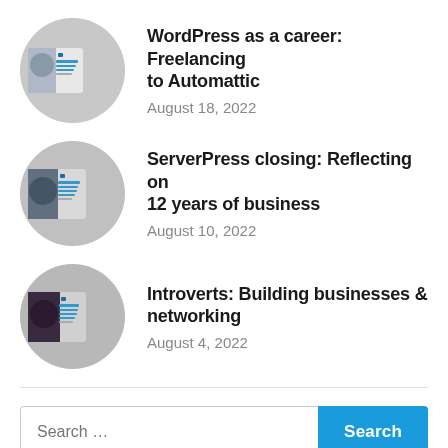WordPress as a career: Freelancing to Automattic
August 18, 2022
ServerPress closing: Reflecting on 12 years of business
August 10, 2022
Introverts: Building businesses & networking
August 4, 2022